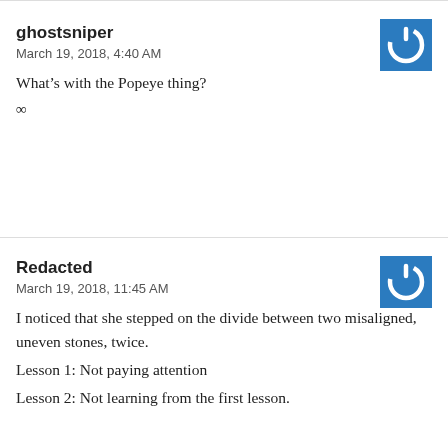ghostsniper
March 19, 2018, 4:40 AM
What’s with the Popeye thing?
∞
[Figure (illustration): Blue square icon with white power button symbol]
Redacted
March 19, 2018, 11:45 AM
I noticed that she stepped on the divide between two misaligned, uneven stones, twice.
Lesson 1: Not paying attention
Lesson 2: Not learning from the first lesson.
[Figure (illustration): Blue square icon with white power button symbol]